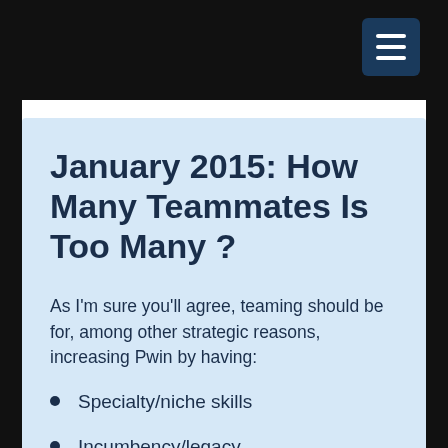[Figure (other): Navigation menu hamburger button (three horizontal lines) on dark navy background, top-right corner]
January 2015: How Many Teammates Is Too Many ?
As I'm sure you'll agree, teaming should be for, among other strategic reasons, increasing Pwin by having:
Specialty/niche skills
Incumbency/legacy
Cost benefits
Breadth/ depth of staff